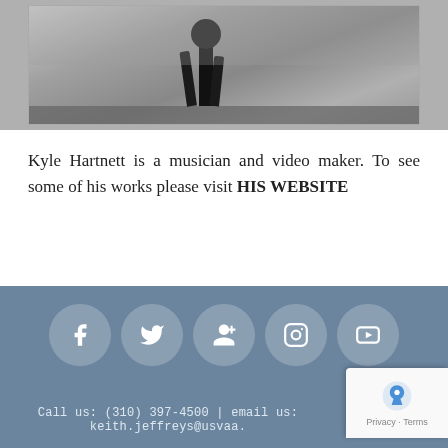[Figure (photo): Black and white photograph showing partial figure of a person standing outdoors on ground]
Kyle Hartnett is a musician and video maker. To see some of his works please visit HIS WEBSITE
[Figure (infographic): Pagination control showing pages 1, 2, 3 with page 2 currently selected (dark circle)]
Social media icons (Facebook, Twitter, Google+, Instagram, YouTube) | Call us: (310) 397-4500 | email us: keith.jeffreys@usvaa.